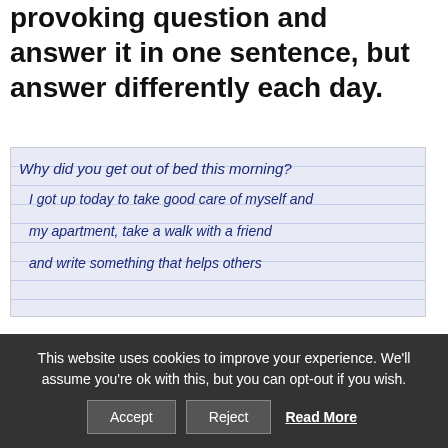provoking question and answer it in one sentence, but answer differently each day.
[Figure (photo): Handwritten note on graph paper. Text reads: 'Why did you get out of bed this morning? I got up today to take good care of myself and my apartment, take a walk with a friend and write something that helps others']
There are endless possibilities to design this exercise and you can change the question from each week
This website uses cookies to improve your experience. We'll assume you're ok with this, but you can opt-out if you wish.